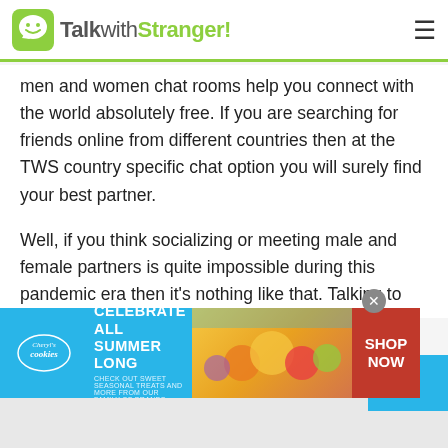TalkwithStranger!
men and women chat rooms help you connect with the world absolutely free. If you are searching for friends online from different countries then at the TWS country specific chat option you will surely find your best partner.
Well, if you think socializing or meeting male and female partners is quite impossible during this pandemic era then it's nothing like that. Talking to female and male strangers during this pandemic is incredibly easy. You don't need to go outside, rather you can start talking to strangers with just one click
[Figure (screenshot): Cheryl's Cookies advertisement banner: blue background with text 'CELEBRATE ALL SUMMER LONG' and food imagery, with red 'SHOP NOW' button on the right]